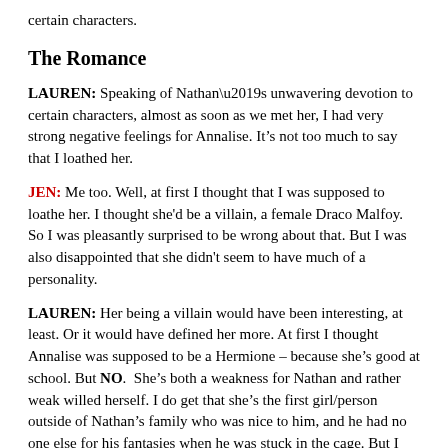certain characters.
The Romance
LAUREN: Speaking of Nathan’s unwavering devotion to certain characters, almost as soon as we met her, I had very strong negative feelings for Annalise. It’s not too much to say that I loathed her.
JEN: Me too. Well, at first I thought that I was supposed to loathe her. I thought she'd be a villain, a female Draco Malfoy. So I was pleasantly surprised to be wrong about that. But I was also disappointed that she didn't seem to have much of a personality.
LAUREN: Her being a villain would have been interesting, at least. Or it would have defined her more. At first I thought Annalise was supposed to be a Hermione – because she’s good at school. But NO.  She’s both a weakness for Nathan and rather weak willed herself. I do get that she’s the first girl/person outside of Nathan’s family who was nice to him, and he had no one else for his fantasies when he was stuck in the cage. But I don’t get how his devotion and blind faith is still going YEARS later. It just made me